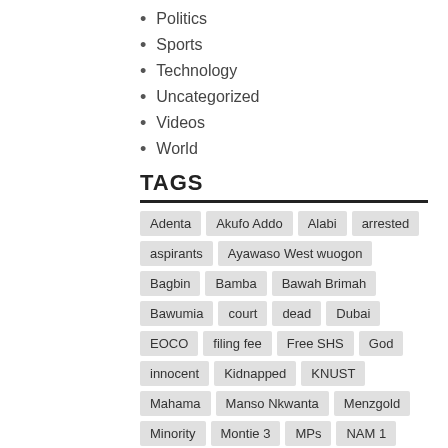Politics
Sports
Technology
Uncategorized
Videos
World
TAGS
Adenta, Akufo Addo, Alabi, arrested, aspirants, Ayawaso West wuogon, Bagbin, Bamba, Bawah Brimah, Bawumia, court, dead, Dubai, EOCO, filing fee, Free SHS, God, innocent, Kidnapped, KNUST, Mahama, Manso Nkwanta, Menzgold, Minority, Montie 3, MPs, NAM 1, National Cathedral, NDC, New Regions, news, nomination forms, NPP, Parliament, Police, Presidency, Rawlings, Reopen, respond, RTI